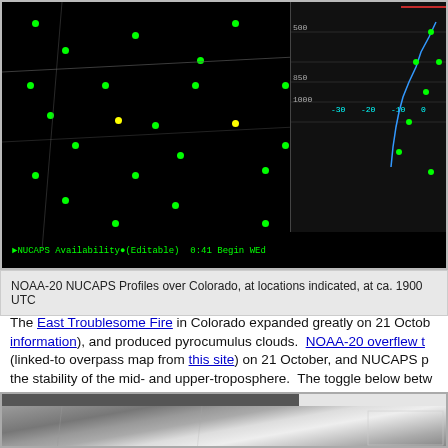[Figure (screenshot): NOAA-20 NUCAPS Profiles over Colorado showing green dots (sounding locations) on black background map with sounding diagram panel on right side]
NOAA-20 NUCAPS Profiles over Colorado, at locations indicated, at ca. 1900 UTC
The East Troublesome Fire in Colorado expanded greatly on 21 October (information), and produced pyrocumulus clouds. NOAA-20 overflew t (linked-to overpass map from this site) on 21 October, and NUCAPS p the stability of the mid- and upper-troposphere. The toggle below betw (0.64 μm) and Infrared (11.45 μm) imagery and NUCAPS Sounding a relationships between cloudiness and point color.
[Figure (screenshot): Satellite visible/infrared imagery of Colorado showing terrain and clouds in grayscale]